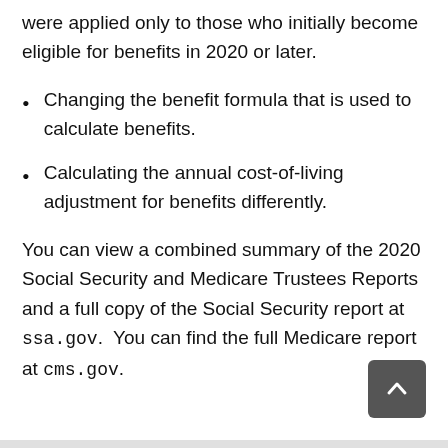were applied only to those who initially become eligible for benefits in 2020 or later.
Changing the benefit formula that is used to calculate benefits.
Calculating the annual cost-of-living adjustment for benefits differently.
You can view a combined summary of the 2020 Social Security and Medicare Trustees Reports and a full copy of the Social Security report at ssa.gov.  You can find the full Medicare report at cms.gov.